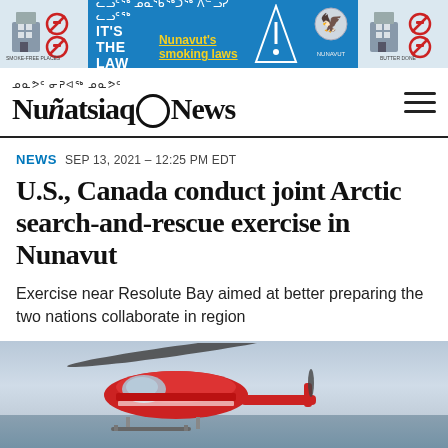[Figure (infographic): Blue advertisement banner for Nunavut smoking laws with Inuktitut syllabics text, 'IT'S THE LAW' and 'Nunavut's smoking laws' with no-smoking icons on left and right sides]
ᓄᓇᕗᑦ ᓂᕈᐊᖅ ᓄᓇᕗᑦ News
NEWS  SEP 13, 2021 – 12:25 PM EDT
U.S., Canada conduct joint Arctic search-and-rescue exercise in Nunavut
Exercise near Resolute Bay aimed at better preparing the two nations collaborate in region
[Figure (photo): Red and white helicopter on a deck or platform with grey overcast sky and water visible in the background, Arctic scenery]